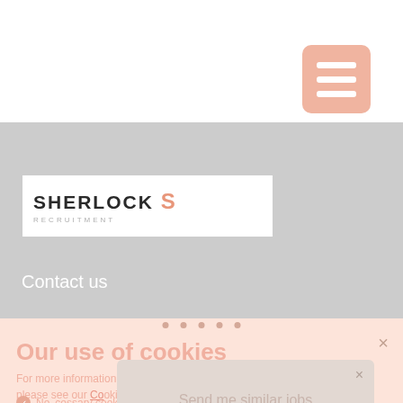[Figure (screenshot): Website screenshot showing Sherlock Recruitment site with hamburger menu button, logo, Contact us link, cookie consent overlay, and a 'Send me similar jobs' email modal popup]
Our use of cookies
For more information about our use of cookies please see our Cookie Policy.
Necessary cookies
Allow cookies
Send me similar jobs
Your email address
Submit